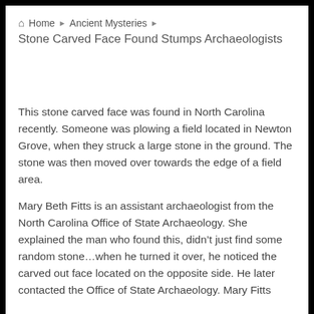Home › Ancient Mysteries ›
Stone Carved Face Found Stumps Archaeologists
This stone carved face was found in North Carolina recently. Someone was plowing a field located in Newton Grove, when they struck a large stone in the ground. The stone was then moved over towards the edge of a field area.
Mary Beth Fitts is an assistant archaeologist from the North Carolina Office of State Archaeology. She explained the man who found this, didn't just find some random stone…when he turned it over, he noticed the carved out face located on the opposite side. He later contacted the Office of State Archaeology. Mary Fitts